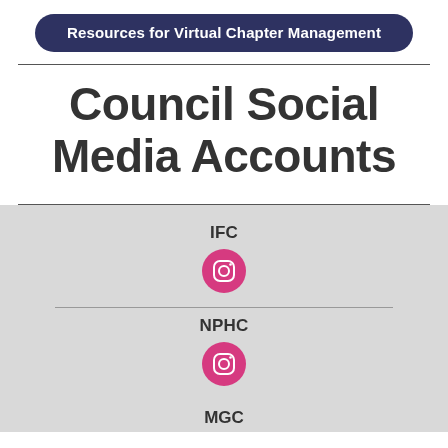Resources for Virtual Chapter Management
Council Social Media Accounts
IFC
[Figure (illustration): Pink Instagram icon circle for IFC]
NPHC
[Figure (illustration): Pink Instagram icon circle for NPHC]
MGC